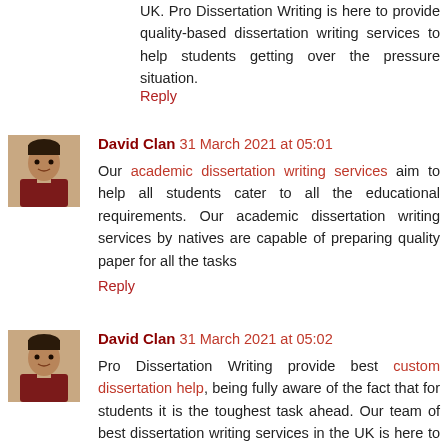UK. Pro Dissertation Writing is here to provide quality-based dissertation writing services to help students getting over the pressure situation.
Reply
[Figure (photo): Avatar photo of David Clan - man in dark red shirt]
David Clan 31 March 2021 at 05:01
Our academic dissertation writing services aim to help all students cater to all the educational requirements. Our academic dissertation writing services by natives are capable of preparing quality paper for all the tasks
Reply
[Figure (photo): Avatar photo of David Clan - man in dark red shirt]
David Clan 31 March 2021 at 05:02
Pro Dissertation Writing provide best custom dissertation help, being fully aware of the fact that for students it is the toughest task ahead. Our team of best dissertation writing services in the UK is here to assist you throughout the process.